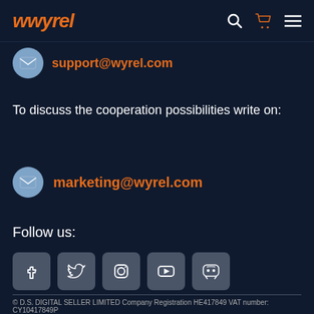wyrel
support@wyrel.com
To discuss the cooperation possibilities write on:
marketing@wyrel.com
Follow us:
[Figure (other): Social media icon buttons: Facebook, Twitter, Instagram, YouTube, Discord]
© D.S. DIGITAL SELLER LIMITED Company Registration HE417849 VAT number: CY10417849P